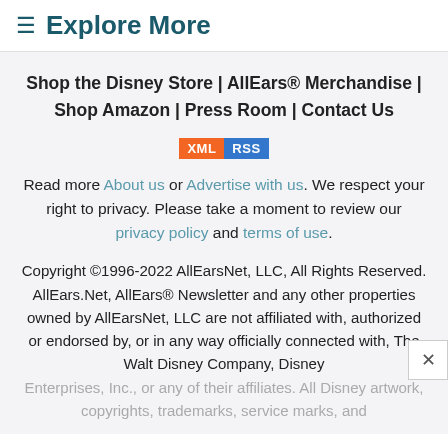≡ Explore More
Shop the Disney Store | AllEars® Merchandise | Shop Amazon | Press Room | Contact Us
[Figure (other): XML RSS badge buttons: orange XML button and blue RSS button]
Read more About us or Advertise with us. We respect your right to privacy. Please take a moment to review our privacy policy and terms of use.
Copyright ©1996-2022 AllEarsNet, LLC, All Rights Reserved. AllEars.Net, AllEars® Newsletter and any other properties owned by AllEarsNet, LLC are not affiliated with, authorized or endorsed by, or in any way officially connected with, The Walt Disney Company, Disney Enterprises, Inc., or any of their affiliates. All Disney artwork, copyrights, trademarks, service marks, and